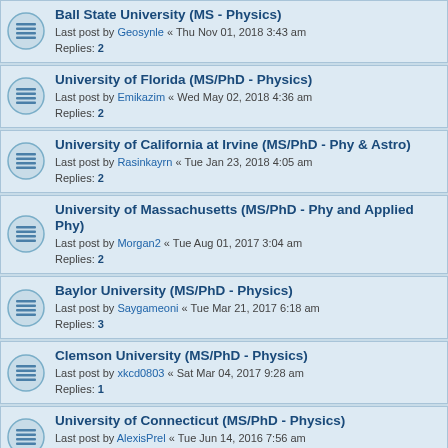Ball State University (MS - Physics)
Last post by Geosynle « Thu Nov 01, 2018 3:43 am
Replies: 2
University of Florida (MS/PhD - Physics)
Last post by Emikazim « Wed May 02, 2018 4:36 am
Replies: 2
University of California at Irvine (MS/PhD - Phy & Astro)
Last post by Rasinkayrn « Tue Jan 23, 2018 4:05 am
Replies: 2
University of Massachusetts (MS/PhD - Phy and Applied Phy)
Last post by Morgan2 « Tue Aug 01, 2017 3:04 am
Replies: 2
Baylor University (MS/PhD - Physics)
Last post by Saygameoni « Tue Mar 21, 2017 6:18 am
Replies: 3
Clemson University (MS/PhD - Physics)
Last post by xkcd0803 « Sat Mar 04, 2017 9:28 am
Replies: 1
University of Connecticut (MS/PhD - Physics)
Last post by AlexisPrel « Tue Jun 14, 2016 7:56 am
Replies: 4
Cornell University (MS/PhD - Physics)
Last post by Aikya1 « Thu Apr 14, 2016 3:16 am
Replies: 24
Carnegie Mellon University (MS/PhD - Physics)
Last post by Catria « Sat Mar 21, 2015 2:30 pm
Replies: 1